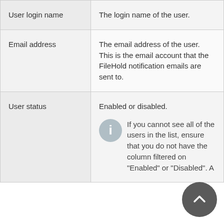| Field | Description |
| --- | --- |
| User login name | The login name of the user. |
| Email address | The email address of the user. This is the email account that the FileHold notification emails are sent to. |
| User status | Enabled or disabled.

If you cannot see all of the users in the list, ensure that you do not have the column filtered on "Enabled" or "Disabled". A |